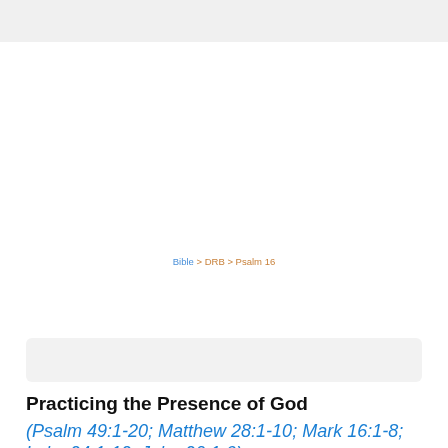Bible > DRB > Psalm 16
Practicing the Presence of God
(Psalm 49:1-20; Matthew 28:1-10; Mark 16:1-8; Luke 24:1-12; John 20:1-9)